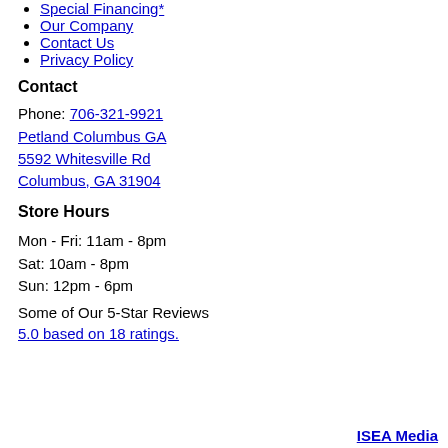Special Financing*
Our Company
Contact Us
Privacy Policy
Contact
Phone: 706-321-9921
Petland Columbus GA
5592 Whitesville Rd
Columbus, GA 31904
Store Hours
Mon - Fri: 11am - 8pm
Sat: 10am - 8pm
Sun: 12pm - 6pm
Some of Our 5-Star Reviews
5.0 based on 18 ratings.
ISEA Media